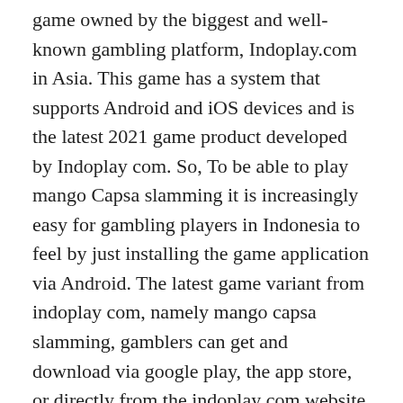game owned by the biggest and well-known gambling platform, Indoplay.com in Asia. This game has a system that supports Android and iOS devices and is the latest 2021 game product developed by Indoplay com. So, To be able to play mango Capsa slamming it is increasingly easy for gambling players in Indonesia to feel by just installing the game application via Android. The latest game variant from indoplay com, namely mango capsa slamming, gamblers can get and download via google play, the app store, or directly from the indoplay com website which you can search via the internet on your android device.
Actually, there are no different rules in the usual Android game. It's just that, the media used and the appearance of the slamming prey with the usual capsa are different. Of